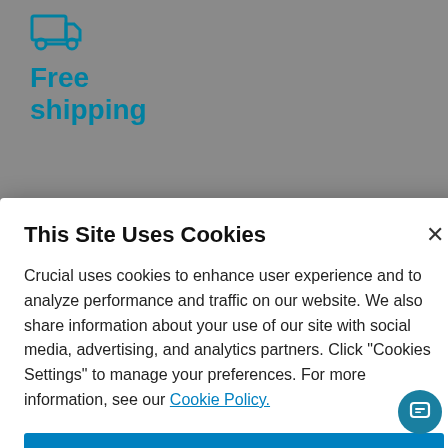[Figure (illustration): Truck/delivery icon in teal/cyan outline style]
Free shipping
[Figure (illustration): UK flag (Union Jack) icon]
This Site Uses Cookies
Crucial uses cookies to enhance user experience and to analyze performance and traffic on our website. We also share information about your use of our site with social media, advertising, and analytics partners. Click "Cookies Settings" to manage your preferences. For more information, see our Cookie Policy.
Accept All Cookies